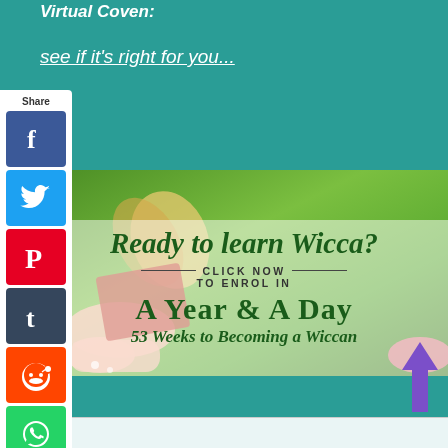Virtual Coven:
see if it's right for you...
[Figure (illustration): Social media share sidebar with Facebook, Twitter, Pinterest, Tumblr, Reddit, and WhatsApp buttons]
[Figure (infographic): Promotional banner over a grass/reading background. Text reads: Ready to learn Wicca? CLICK NOW TO ENROL IN A Year & A Day: 53 Weeks to Becoming a Wiccan]
[Figure (illustration): Purple upward-pointing arrow on the right side]